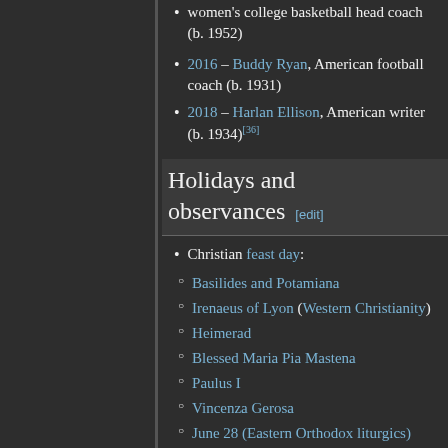women's college basketball head coach (b. 1952)
2016 – Buddy Ryan, American football coach (b. 1931)
2018 – Harlan Ellison, American writer (b. 1934)[36]
Holidays and observances [edit]
Christian feast day:
Basilides and Potamiana
Irenaeus of Lyon (Western Christianity)
Heimerad
Blessed Maria Pia Mastena
Paulus I
Vincenza Gerosa
June 28 (Eastern Orthodox liturgics)